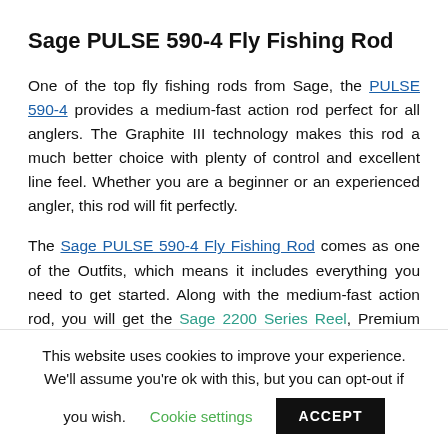Sage PULSE 590-4 Fly Fishing Rod
One of the top fly fishing rods from Sage, the PULSE 590-4 provides a medium-fast action rod perfect for all anglers. The Graphite III technology makes this rod a much better choice with plenty of control and excellent line feel. Whether you are a beginner or an experienced angler, this rod will fit perfectly.
The Sage PULSE 590-4 Fly Fishing Rod comes as one of the Outfits, which means it includes everything you need to get started. Along with the medium-fast action rod, you will get the Sage 2200 Series Reel, Premium ROI Gold
This website uses cookies to improve your experience. We'll assume you're ok with this, but you can opt-out if you wish. Cookie settings ACCEPT